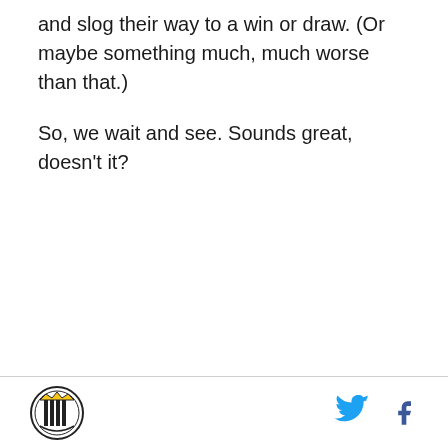and slog their way to a win or draw. (Or maybe something much, much worse than that.)
So, we wait and see. Sounds great, doesn't it?
[logo] [twitter] [facebook]